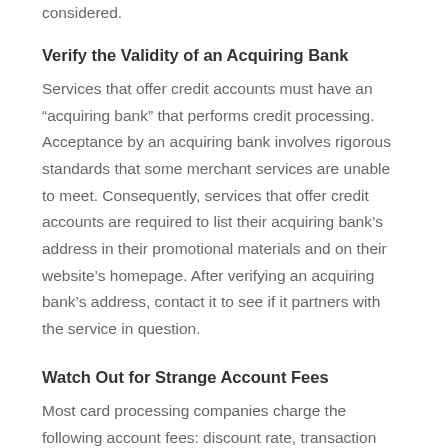considered.
Verify the Validity of an Acquiring Bank
Services that offer credit accounts must have an “acquiring bank” that performs credit processing. Acceptance by an acquiring bank involves rigorous standards that some merchant services are unable to meet. Consequently, services that offer credit accounts are required to list their acquiring bank’s address in their promotional materials and on their website’s homepage. After verifying an acquiring bank’s address, contact it to see if it partners with the service in question.
Watch Out for Strange Account Fees
Most card processing companies charge the following account fees: discount rate, transaction fee, monthly gateway fee, monthly statement fee, early termination fee, and monthly minimum fee.